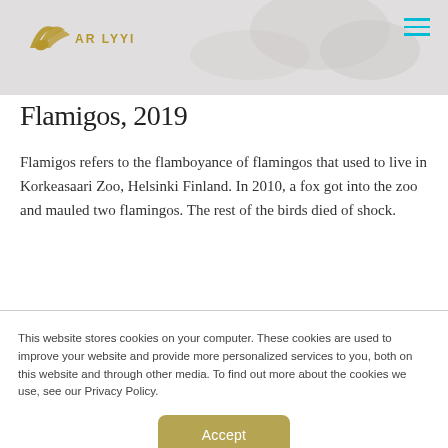AR LYYI (logo/header with flamingo background image)
Flamigos, 2019
Flamigos refers to the flamboyance of flamingos that used to live in Korkeasaari Zoo, Helsinki Finland. In 2010, a fox got into the zoo and mauled two flamingos. The rest of the birds died of shock.
This website stores cookies on your computer. These cookies are used to improve your website and provide more personalized services to you, both on this website and through other media. To find out more about the cookies we use, see our Privacy Policy.